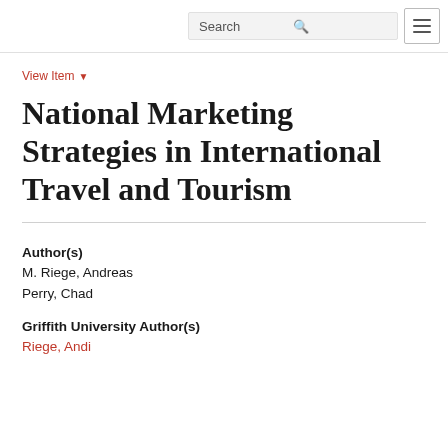Search [hamburger menu]
View Item ▾
National Marketing Strategies in International Travel and Tourism
Author(s)
M. Riege, Andreas
Perry, Chad
Griffith University Author(s)
Riege, Andi